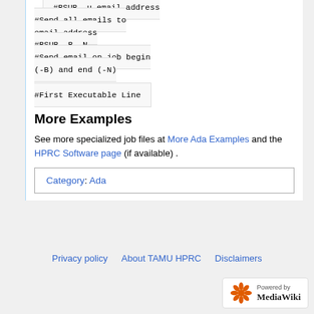#BSUB -u email_address
#Send all emails to email_address
#BSUB -B -N
#Send email on job begin (-B) and end (-N)

#First Executable Line
More Examples
See more specialized job files at More Ada Examples and the HPRC Software page (if available) .
Category:  Ada
Privacy policy   About TAMU HPRC   Disclaimers